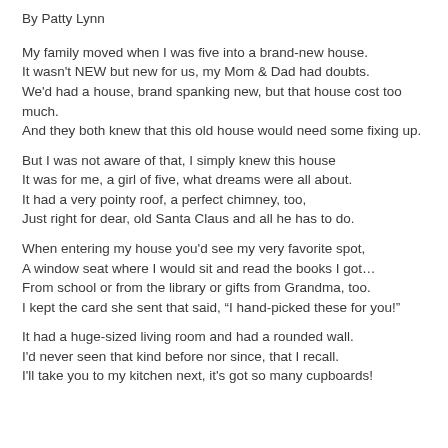By Patty Lynn
My family moved when I was five into a brand-new house.
It wasn't NEW but new for us, my Mom & Dad had doubts.
We'd had a house, brand spanking new, but that house cost too much.
And they both knew that this old house would need some fixing up.
But I was not aware of that, I simply knew this house
It was for me, a girl of five, what dreams were all about.
It had a very pointy roof, a perfect chimney, too,
Just right for dear, old Santa Claus and all he has to do.
When entering my house you'd see my very favorite spot,
A window seat where I would sit and read the books I got…
From school or from the library or gifts from Grandma, too.
I kept the card she sent that said, “I hand-picked these for you!”
It had a huge-sized living room and had a rounded wall.
I'd never seen that kind before nor since, that I recall.
I'll take you to my kitchen next, it's got so many cupboards!